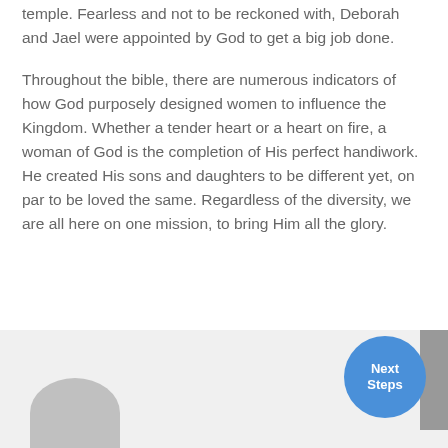temple. Fearless and not to be reckoned with, Deborah and Jael were appointed by God to get a big job done.
Throughout the bible, there are numerous indicators of how God purposely designed women to influence the Kingdom. Whether a tender heart or a heart on fire, a woman of God is the completion of His perfect handiwork. He created His sons and daughters to be different yet, on par to be loved the same. Regardless of the diversity, we are all here on one mission, to bring Him all the glory.
[Figure (illustration): Bottom section with light gray background, a gray semicircle at bottom left representing a person silhouette, a dark gray vertical bar at top right edge, and a blue circular 'Next Steps' button at bottom right.]